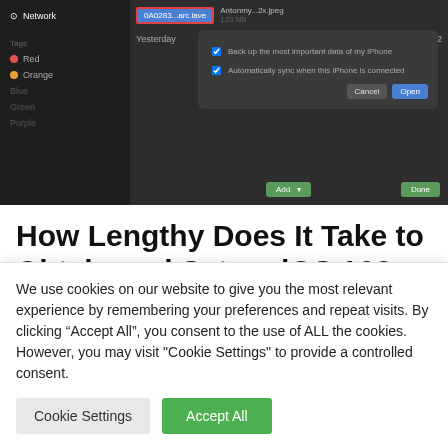[Figure (screenshot): Screenshot of a macOS Finder or iTunes-like dark UI showing a network/file dialog with a highlighted item '0A0283...arc.lave', sidebar with Network, Red, Orange items, and Cancel/Open buttons]
How Lengthy Does It Take to Obtain and Set up iOS 16?
In case your Wi-Fi connection is powerful and there aren't any points affecting Apple's servers, it won't take greater than 5 to fifteen minutes to obtain the
We use cookies on our website to give you the most relevant experience by remembering your preferences and repeat visits. By clicking “Accept All”, you consent to the use of ALL the cookies. However, you may visit "Cookie Settings" to provide a controlled consent.